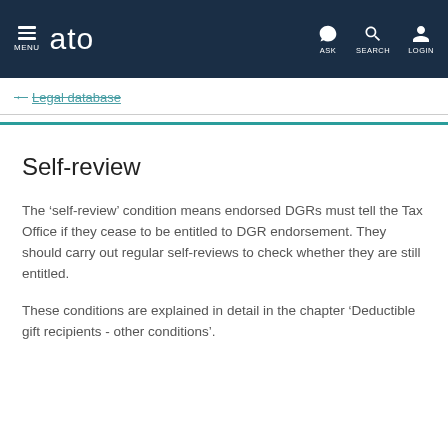MENU  ato  ASK  SEARCH  LOGIN
← Legal database
Self-review
The 'self-review' condition means endorsed DGRs must tell the Tax Office if they cease to be entitled to DGR endorsement. They should carry out regular self-reviews to check whether they are still entitled.
These conditions are explained in detail in the chapter 'Deductible gift recipients - other conditions'.